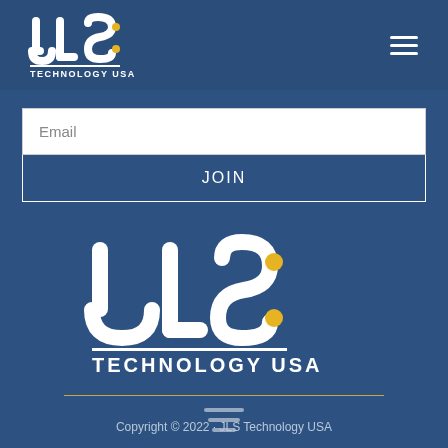[Figure (logo): JLS Technology USA logo in white with yellow dots, top-left of nav bar]
[Figure (logo): Hamburger menu icon (three white horizontal lines) top-right of nav bar]
Email
JOIN
[Figure (logo): Large JLS Technology USA logo centered on blue background, white letters with yellow dots]
Copyright © 2022 · JLS Technology USA